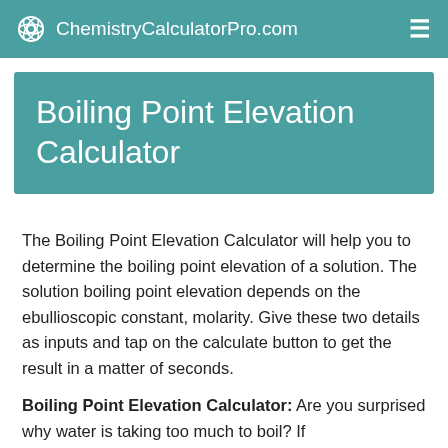ChemistryCalculatorPro.com
Boiling Point Elevation Calculator
The Boiling Point Elevation Calculator will help you to determine the boiling point elevation of a solution. The solution boiling point elevation depends on the ebullioscopic constant, molarity. Give these two details as inputs and tap on the calculate button to get the result in a matter of seconds.
Boiling Point Elevation Calculator: Are you surprised why water is taking too much to boil? If